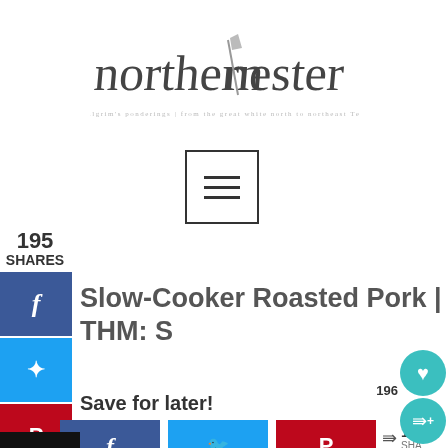[Figure (logo): northern nester cursive script logo with feather and tagline: a pilgrim's ponderings | from the great white north to northeast Texas]
[Figure (other): hamburger menu icon inside a square box]
195
SHARES
[Figure (infographic): Vertical social share sidebar with Facebook (blue), Twitter (blue), Pinterest (red) buttons]
Slow-Cooker Roasted Pork | THM: S
Save for later!
[Figure (infographic): Row of social share buttons: Facebook (dark blue), Twitter (light blue), Pinterest (red), share count showing 195 SHARES and 196, plus floating teal heart and share icons at bottom right]